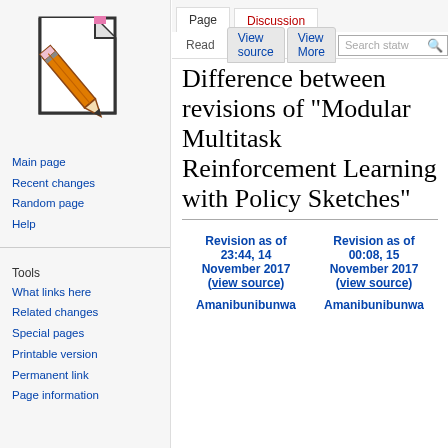Log in  Request account
[Figure (illustration): Wikipedia-style logo showing a pencil writing on a document page]
Main page
Recent changes
Random page
Help
Tools
What links here
Related changes
Special pages
Printable version
Permanent link
Page information
Difference between revisions of "Modular Multitask Reinforcement Learning with Policy Sketches"
| Revision as of 23:44, 14 November 2017 (view source) | Revision as of 00:08, 15 November 2017 (view source) |
| --- | --- |
| Amanibunibunwa | Amanibunibunwa |